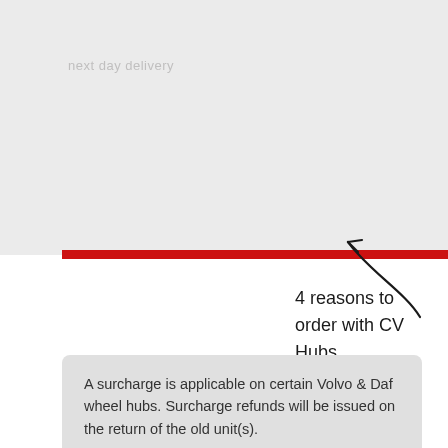4 reasons to order with CV Hubs
[Figure (illustration): Hand-drawn arrow pointing upward-left toward a red horizontal bar, with handwritten annotation '4 reasons to order with CV Hubs']
A surcharge is applicable on certain Volvo & Daf wheel hubs. Surcharge refunds will be issued on the return of the old unit(s).
To use our free collection service, please securely attach